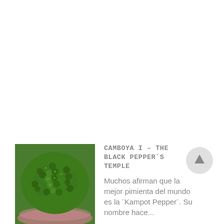[Figure (photo): Close-up photo of green Kampot peppercorns in a bowl or basket, arranged in a pile, vivid green color.]
CAMBOYA I – THE BLACK PEPPER´S TEMPLE
Muchos afirman que la mejor pimienta del mundo es la ¨Kampot Pepper¨. Su nombre hace...